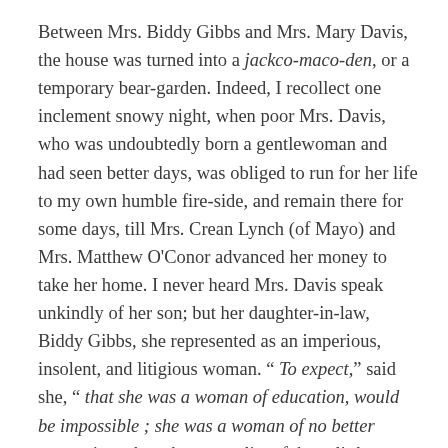Between Mrs. Biddy Gibbs and Mrs. Mary Davis, the house was turned into a jackco-maco-den, or a temporary bear-garden. Indeed, I recollect one inclement snowy night, when poor Mrs. Davis, who was undoubtedly born a gentlewoman and had seen better days, was obliged to run for her life to my own humble fire-side, and remain there for some days, till Mrs. Crean Lynch (of Mayo) and Mrs. Matthew O'Conor advanced her money to take her home. I never heard Mrs. Davis speak unkindly of her son; but her daughter-in-law, Biddy Gibbs, she represented as an imperious, insolent, and litigious woman. “ To expect,” said she, “ that she was a woman of education, would be impossible ; she was a woman of no better pretensions than the generality of those little housemaids that we see giggling about Saunders’s News-Letter office, in Dame-street.” “The agreement,”